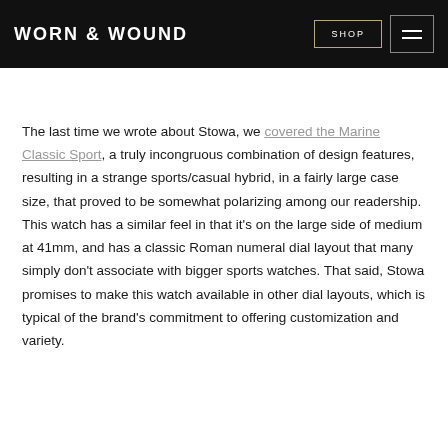WORN & WOUND
The last time we wrote about Stowa, we covered the Marine Classic Sport, a truly incongruous combination of design features, resulting in a strange sports/casual hybrid, in a fairly large case size, that proved to be somewhat polarizing among our readership. This watch has a similar feel in that it’s on the large side of medium at 41mm, and has a classic Roman numeral dial layout that many simply don’t associate with bigger sports watches. That said, Stowa promises to make this watch available in other dial layouts, which is typical of the brand’s commitment to offering customization and variety.